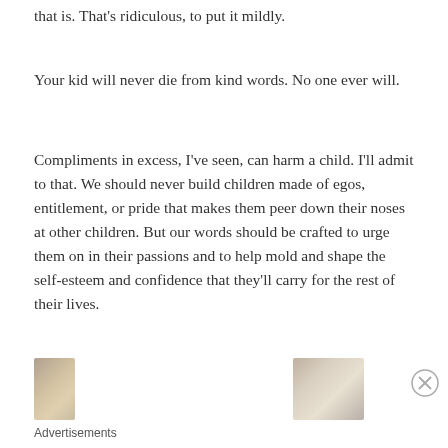that is. That’s ridiculous, to put it mildly.
Your kid will never die from kind words. No one ever will.
Compliments in excess, I’ve seen, can harm a child. I’ll admit to that. We should never build children made of egos, entitlement, or pride that makes them peer down their noses at other children. But our words should be crafted to urge them on in their passions and to help mold and shape the self-esteem and confidence that they’ll carry for the rest of their lives.
[Figure (photo): Two partially visible advertisement images at the bottom of the page]
Advertisements